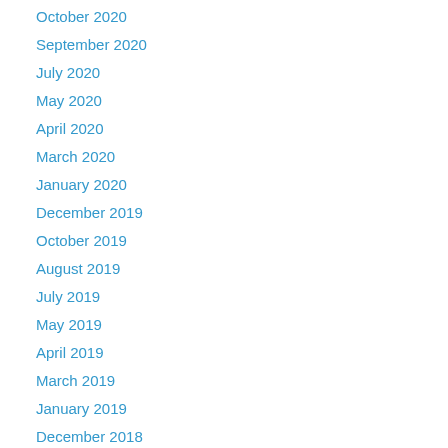October 2020
September 2020
July 2020
May 2020
April 2020
March 2020
January 2020
December 2019
October 2019
August 2019
July 2019
May 2019
April 2019
March 2019
January 2019
December 2018
November 2018
October 2018
September 2018
August 2018